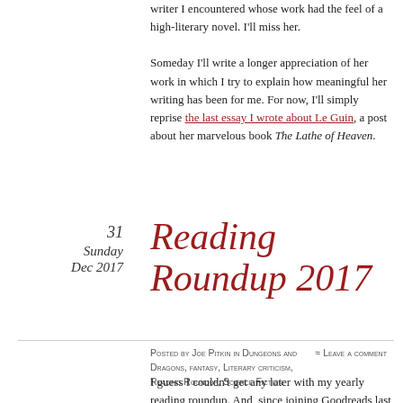writer I encountered whose work had the feel of a high-literary novel. I'll miss her.

Someday I'll write a longer appreciation of her work in which I try to explain how meaningful her writing has been for me. For now, I'll simply reprise the last essay I wrote about Le Guin, a post about her marvelous book The Lathe of Heaven.
31
Sunday
Dec 2017
Reading Roundup 2017
Posted by Joe Pitkin in Dungeons and Dragons, fantasy, Literary criticism, Reading Roundup, Science Fiction
≈ Leave a comment
I guess I couldn't get any later with my yearly reading roundup. And, since joining Goodreads last month, the